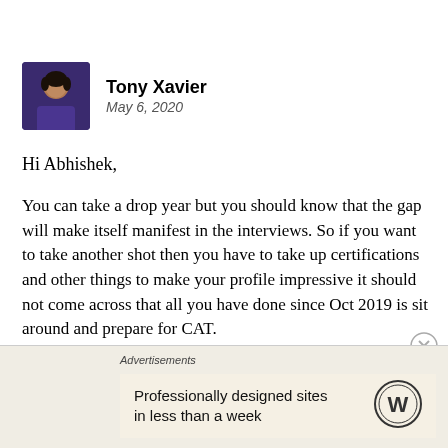[Figure (photo): Profile photo of Tony Xavier, a man in a dark shirt, with brownish background]
Tony Xavier
May 6, 2020
Hi Abhishek,
You can take a drop year but you should know that the gap will make itself manifest in the interviews. So if you want to take another shot then you have to take up certifications and other things to make your profile impressive it should not come across that all you have done since Oct 2019 is sit around and prepare for CAT.
Also, do read this post as well — https://thecatwriter.com/2020/02/17/to-re-take-or-not-to-re-take-the-cat-3/
Advertisements
Professionally designed sites in less than a week